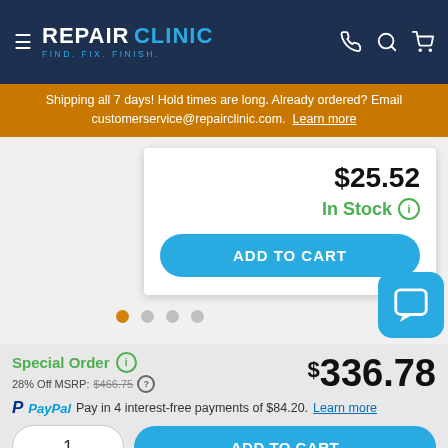REPAIR CLINIC — FIND. FIX. FINISH.
Shipping all 7 days! Hold times are long. Already ordered? Email customerservice@repairclinic.com. Learn more
$25.52
In Stock
ADD TO CART
Special Order  28% Off MSRP: $466.75  $336.78
PayPal Pay in 4 interest-free payments of $84.20. Learn more
1
ADD TO CART